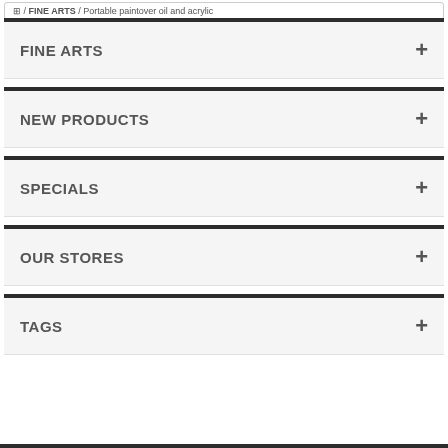FINE ARTS / Portable paintover oil and acrylic
FINE ARTS
NEW PRODUCTS
SPECIALS
OUR STORES
TAGS